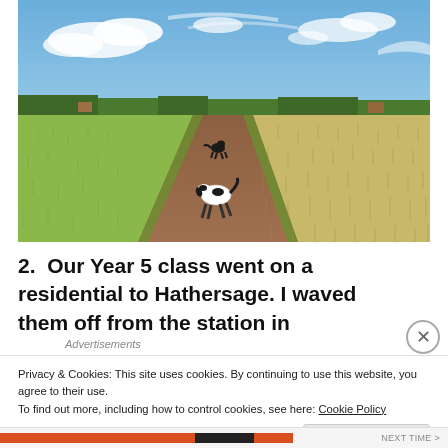[Figure (photo): Two dogs running along a dirt path through a green and golden harvested field under a blue sky with white clouds and a treeline in the distance.]
2.  Our Year 5 class went on a residential to Hathersage. I waved them off from the station in
Advertisements
Privacy & Cookies: This site uses cookies. By continuing to use this website, you agree to their use.
To find out more, including how to control cookies, see here: Cookie Policy
Close and accept